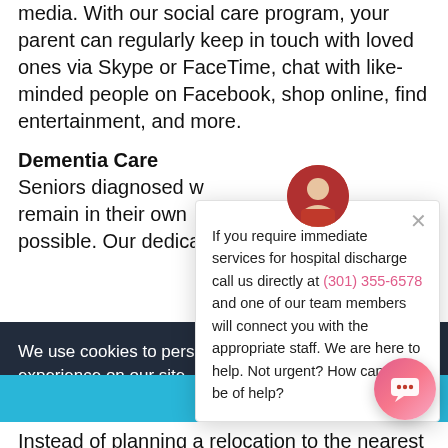media. With our social care program, your parent can regularly keep in touch with loved ones via Skype or FaceTime, chat with like-minded people on Facebook, shop online, find entertainment, and more.
Dementia Care
Seniors diagnosed w remain in their own possible. Our dedica
If you require immediate services for hospital discharge call us directly at (301) 355-6578 and one of our team members will connect you with the appropriate staff. We are here to help. Not urgent? How can we be of help?
We use cookies to pers experience on our site. please read our data policy.
OK
Instead of planning a relocation to the nearest